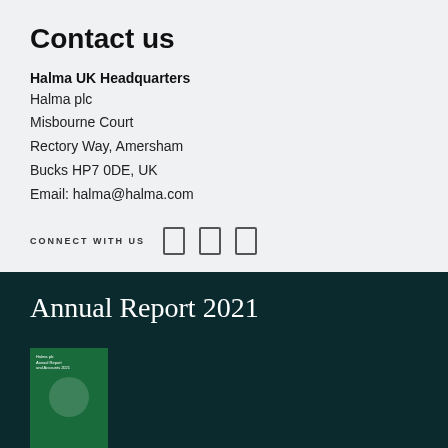Contact us
Halma UK Headquarters
Halma plc
Misbourne Court
Rectory Way, Amersham
Bucks HP7 0DE, UK
Email: halma@halma.com
CONNECT WITH US
Annual Report 2021
[Figure (photo): Thumbnail of Halma plc Annual Report and Accounts 2021 cover, green background with partial image]